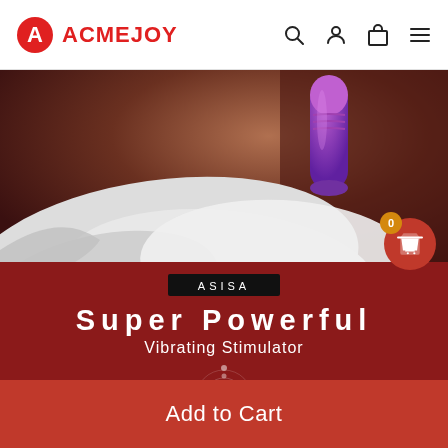ACMEJOY
[Figure (photo): Product photo showing a purple vibrating stimulator held against a white cloth/fabric with a dark warm background]
ASISA
Super Powerful
Vibrating Stimulator
Add to Cart